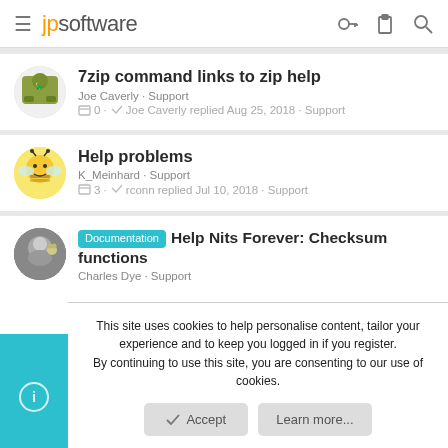jpsoftware
7zip command links to zip help — Joe Caverly · Support · 0 · Joe Caverly replied Aug 25, 2018 · Support
Help problems — K_Meinhard · Support · 3 · rconn replied Jul 10, 2018 · Support
Documentation Help Nits Forever: Checksum functions — Charles Dye · Support
This site uses cookies to help personalise content, tailor your experience and to keep you logged in if you register. By continuing to use this site, you are consenting to our use of cookies.